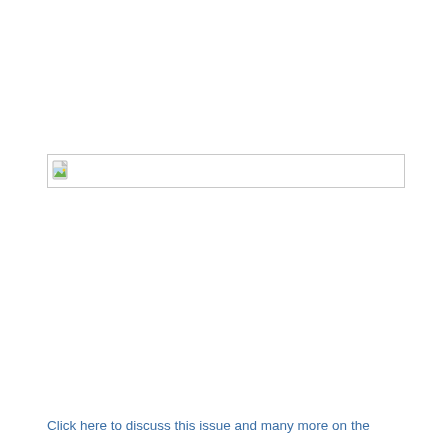[Figure (other): Broken image placeholder box with a small broken-image icon in the top-left corner, outlined with a thin gray border.]
Click here to discuss this issue and many more on the